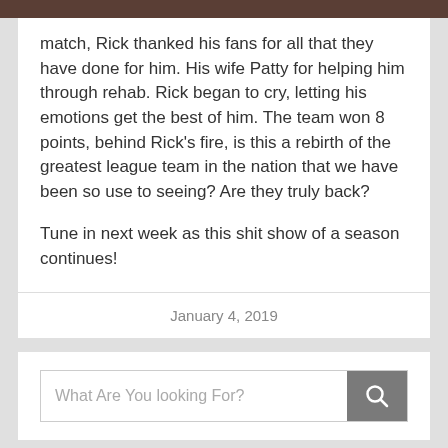match, Rick thanked his fans for all that they have done for him. His wife Patty for helping him through rehab. Rick began to cry, letting his emotions get the best of him. The team won 8 points, behind Rick's fire, is this a rebirth of the greatest league team in the nation that we have been so use to seeing? Are they truly back?
Tune in next week as this shit show of a season continues!
January 4, 2019
What Are You looking For?